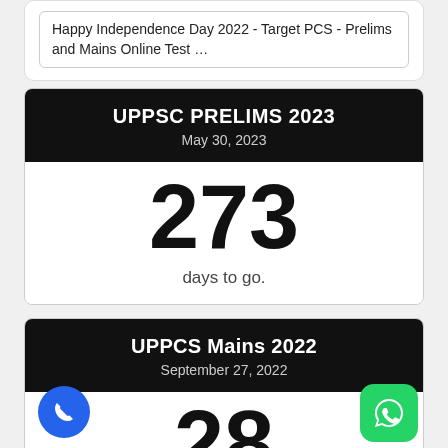Happy Independence Day 2022 - Target PCS - Prelims and Mains Online Test …
UPPSC PRELIMS 2023
May 30, 2023
273
days to go.
UPPCS Mains 2022
September 27, 2022
28